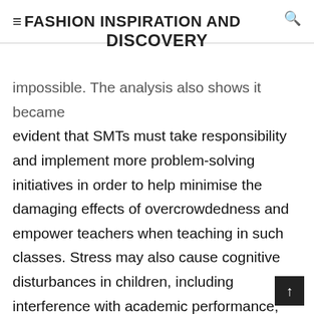≡FASHION INSPIRATION AND DISCOVERY
FASHION INSPIRATION AND DISCOVERY
impossible. The analysis also shows it became evident that SMTs must take responsibility and implement more problem-solving initiatives in order to help minimise the damaging effects of overcrowdedness and empower teachers when teaching in such classes. Stress may also cause cognitive disturbances in children, including interference with academic performance, academic delays, attention disorders and other cognitive errors (Mash & Wolfe 2012:416, 419). The content and teaching strategies planned for by the specific pre-